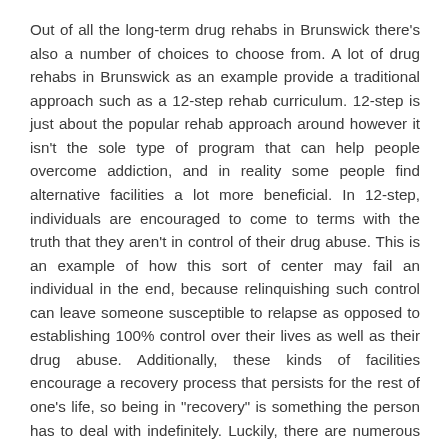Out of all the long-term drug rehabs in Brunswick there's also a number of choices to choose from. A lot of drug rehabs in Brunswick as an example provide a traditional approach such as a 12-step rehab curriculum. 12-step is just about the popular rehab approach around however it isn't the sole type of program that can help people overcome addiction, and in reality some people find alternative facilities a lot more beneficial. In 12-step, individuals are encouraged to come to terms with the truth that they aren't in control of their drug abuse. This is an example of how this sort of center may fail an individual in the end, because relinquishing such control can leave someone susceptible to relapse as opposed to establishing 100% control over their lives as well as their drug abuse. Additionally, these kinds of facilities encourage a recovery process that persists for the rest of one's life, so being in "recovery" is something the person has to deal with indefinitely. Luckily, there are numerous alternative programs that really help an individual "recovery" while in rehab and completely take care of their addiction issues while there, so you shouldn't have to be in a continuing process of recovery which requires continuous upkeep and maintenance.